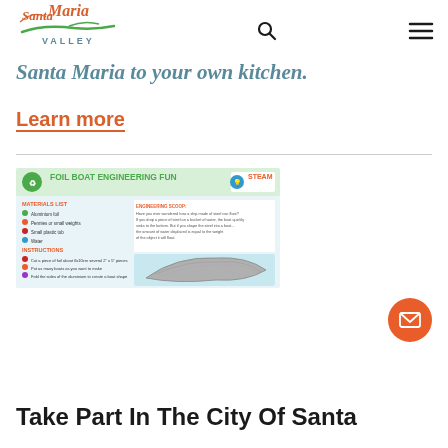Santa Maria Valley (logo with search and menu icons)
Santa Maria to your own kitchen.
Learn more
[Figure (illustration): Foil Boat Engineering Fun activity sheet with STEAM logo, showing a foil boat, materials list, instructions, and engineering scoop text]
Take Part In The City Of Santa